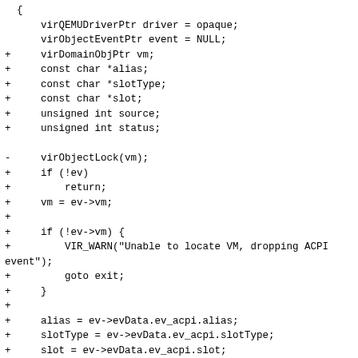Code diff showing C function body with variable declarations and control flow using virQEMUDriverPtr, virObjectEventPtr, virDomainObjPtr, and ACPI event handling logic.